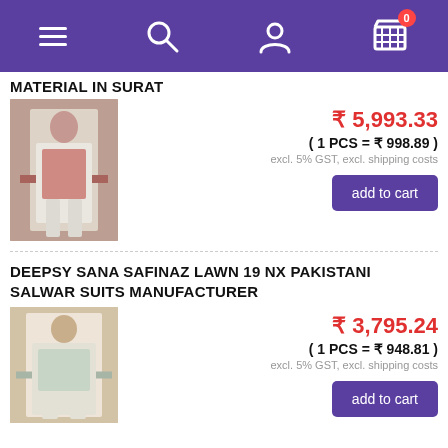Navigation bar with menu, search, user, and cart (0 items)
MATERIAL IN SURAT
[Figure (photo): Product photo of a Pakistani salwar suit with red floral print, model standing outdoors]
₹ 5,993.33
( 1 PCS = ₹ 998.89 )
excl. 5% GST, excl. shipping costs
add to cart
DEEPSY SANA SAFINAZ LAWN 19 NX PAKISTANI SALWAR SUITS MANUFACTURER
[Figure (photo): Product photo of a Pakistani lawn salwar suit in light color with embroidery]
₹ 3,795.24
( 1 PCS = ₹ 948.81 )
excl. 5% GST, excl. shipping costs
add to cart